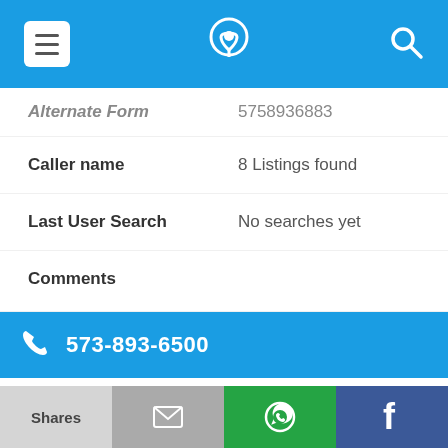[Figure (screenshot): Mobile app top navigation bar with hamburger menu, phone/location logo, and search icon on blue background]
Alternate Form    5758936883
Caller name    8 Listings found
Last User Search    No searches yet
Comments
573-893-6500
Alternate Form    5738936500
Caller name    7 Listings found
[Figure (screenshot): Bottom action bar with Shares, mail, WhatsApp, and Facebook buttons]